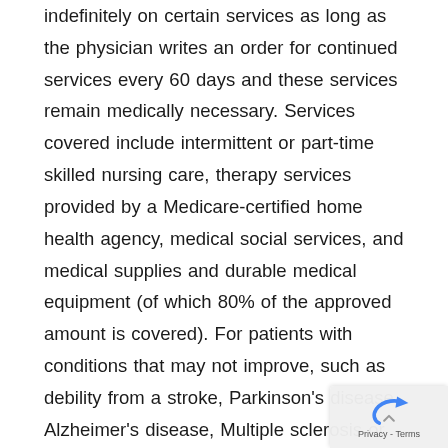indefinitely on certain services as long as the physician writes an order for continued services every 60 days and these services remain medically necessary. Services covered include intermittent or part-time skilled nursing care, therapy services provided by a Medicare-certified home health agency, medical social services, and medical supplies and durable medical equipment (of which 80% of the approved amount is covered). For patients with conditions that may not improve, such as debility from a stroke, Parkinson's disease, Alzheimer's disease, Multiple sclerosis or ALS, Medicare will pay for services that could prevent further decline in their health status. Hospice care for those with a terminal illness who have chosen to stop all active treatment and are not expected to survive longer than six months is also covered with Medicare. This care includes medications for pain control or from the symptoms of the illness, as well as hospice